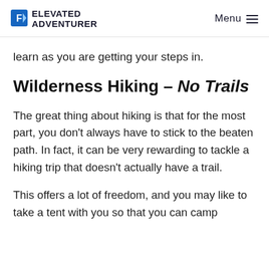ELEVATED ADVENTURER | Menu
learn as you are getting your steps in.
Wilderness Hiking – No Trails
The great thing about hiking is that for the most part, you don't always have to stick to the beaten path. In fact, it can be very rewarding to tackle a hiking trip that doesn't actually have a trail.
This offers a lot of freedom, and you may like to take a tent with you so that you can camp